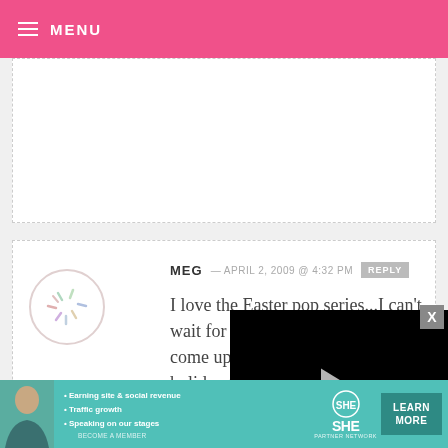MENU
so nicely! Thanks for sharing!
MEG — APRIL 2, 2009 @ 4:32 PM  REPLY
I love the Easter pop series...I can't wait for H come up holiday to Anyway t and woul a knitting night!
[Figure (screenshot): Embedded video player overlay showing black video with play button, progress bar at 13:52, and media controls including mute, CC, grid, settings, and fullscreen icons]
[Figure (infographic): SHE Partner Network advertisement banner with woman photo, bullet points: Earning site & social revenue, Traffic growth, Speaking on our stages, BECOME A MEMBER, SHE logo, and LEARN MORE button]